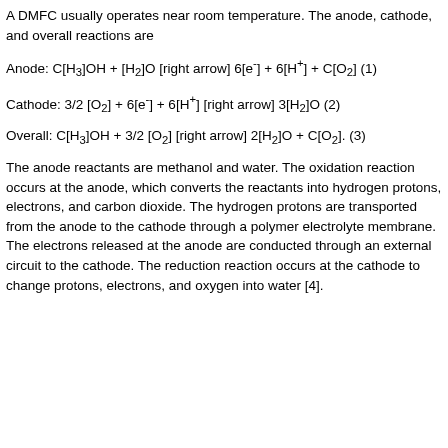A DMFC usually operates near room temperature. The anode, cathode, and overall reactions are
The anode reactants are methanol and water. The oxidation reaction occurs at the anode, which converts the reactants into hydrogen protons, electrons, and carbon dioxide. The hydrogen protons are transported from the anode to the cathode through a polymer electrolyte membrane. The electrons released at the anode are conducted through an external circuit to the cathode. The reduction reaction occurs at the cathode to change protons, electrons, and oxygen into water [4].